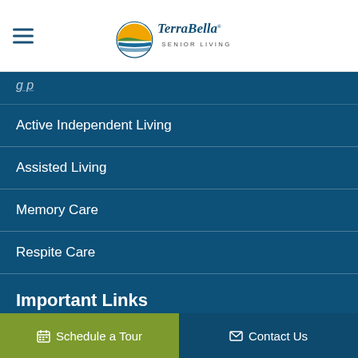TerraBella Senior Living
Active Independent Living
Assisted Living
Memory Care
Respite Care
Important Links
Exclusive Senior Living Programs
Schedule a Tour   Contact Us